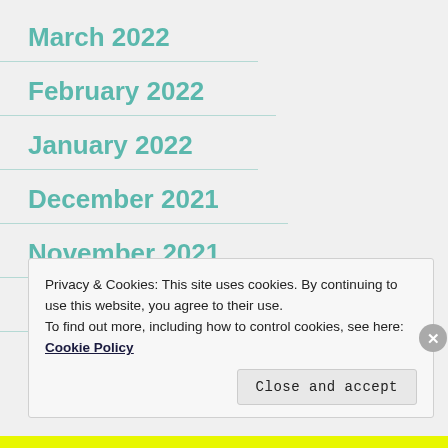March 2022
February 2022
January 2022
December 2021
November 2021
October 2021
Privacy & Cookies: This site uses cookies. By continuing to use this website, you agree to their use.
To find out more, including how to control cookies, see here: Cookie Policy
Close and accept